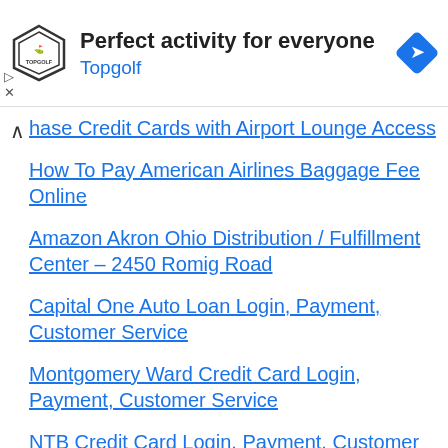[Figure (advertisement): Topgolf advertisement banner with logo, text 'Perfect activity for everyone', 'Topgolf', and a blue diamond navigation icon]
Chase Credit Cards with Airport Lounge Access
How To Pay American Airlines Baggage Fee Online
Amazon Akron Ohio Distribution / Fulfillment Center – 2450 Romig Road
Capital One Auto Loan Login, Payment, Customer Service
Montgomery Ward Credit Card Login, Payment, Customer Service
NTB Credit Card Login, Payment, Customer